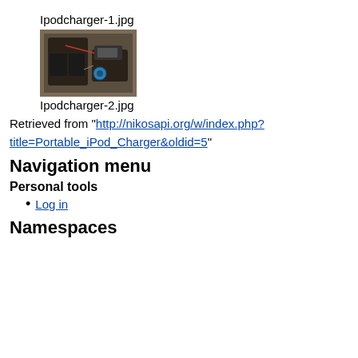Ipodcharger-1.jpg
[Figure (photo): Photo of an iPod charger circuit/electronics, open black case on a wooden floor surface, showing wiring and battery components.]
Ipodcharger-2.jpg
Retrieved from "http://nikosapi.org/w/index.php?title=Portable_iPod_Charger&oldid=5"
Navigation menu
Personal tools
Log in
Namespaces